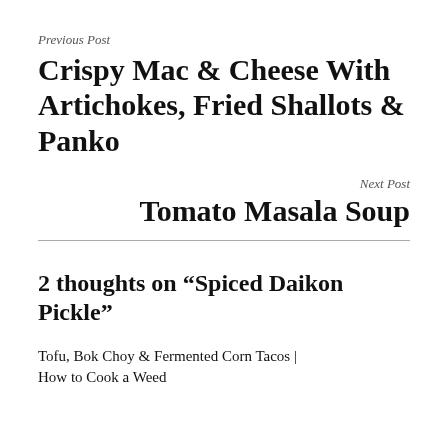Previous Post
Crispy Mac & Cheese With Artichokes, Fried Shallots & Panko
Next Post
Tomato Masala Soup
2 thoughts on “Spiced Daikon Pickle”
Tofu, Bok Choy & Fermented Corn Tacos | How to Cook a Weed